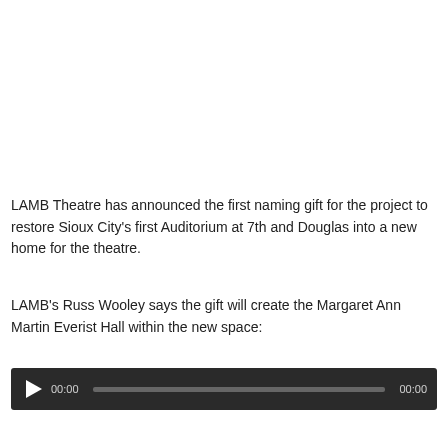LAMB Theatre has announced the first naming gift for the project to restore Sioux City's first Auditorium at 7th and Douglas into a new home for the theatre.
LAMB's Russ Wooley says the gift will create the Margaret Ann Martin Everist Hall within the new space:
[Figure (other): Audio player widget with dark background, play button, 00:00 start time, progress bar, and 00:00 end time.]